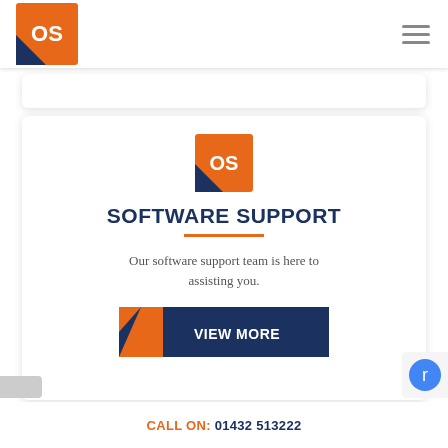[Figure (logo): OS logo: orange square with white 'OS' text and dark blue triangle corner accent, in top-left navbar]
[Figure (logo): OS logo: orange square with white 'OS' text and dark blue triangle corner accent, centered in main card]
SOFTWARE SUPPORT
Our software support team is here to assisting you.
[Figure (other): Dark blue button labeled VIEW MORE with orange arrow/chevron on the left side]
CALL ON: 01432 513222